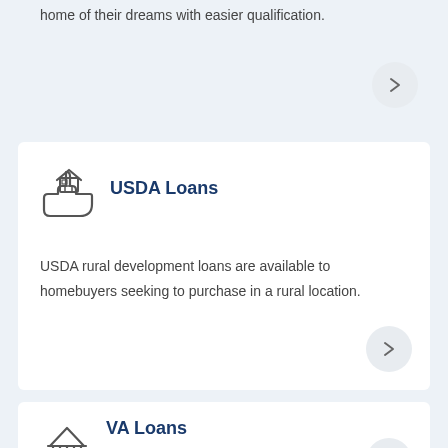home of their dreams with easier qualification.
[Figure (illustration): Arrow button circle pointing right]
[Figure (illustration): House on a hand icon representing USDA Loans]
USDA Loans
USDA rural development loans are available to homebuyers seeking to purchase in a rural location.
[Figure (illustration): Arrow button circle pointing right]
[Figure (illustration): Column/pillars building icon representing VA Loans]
VA Loans
[Figure (illustration): Arrow button circle pointing up]